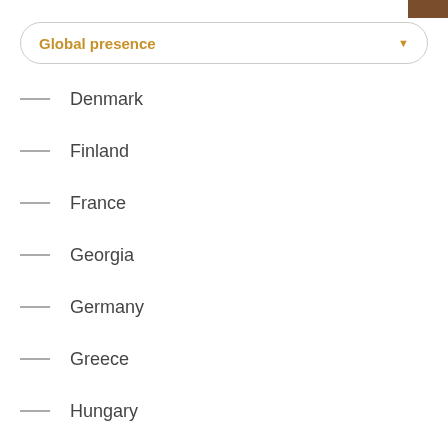Global presence
Denmark
Finland
France
Georgia
Germany
Greece
Hungary
Ireland
Italy
Luxembourg